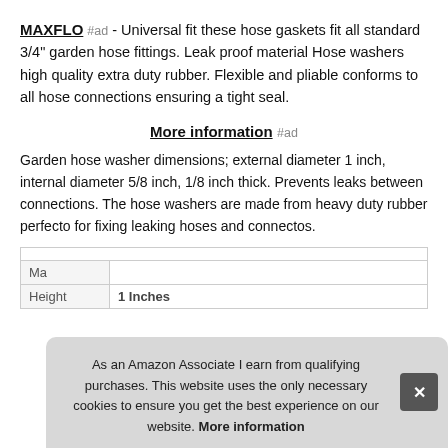MAXFLO #ad - Universal fit these hose gaskets fit all standard 3/4" garden hose fittings. Leak proof material Hose washers high quality extra duty rubber. Flexible and pliable conforms to all hose connections ensuring a tight seal.
More information #ad
Garden hose washer dimensions; external diameter 1 inch, internal diameter 5/8 inch, 1/8 inch thick. Prevents leaks between connections. The hose washers are made from heavy duty rubber perfecto for fixing leaking hoses and connectos.
| Ma |  |
| Height | 1 Inches |
As an Amazon Associate I earn from qualifying purchases. This website uses the only necessary cookies to ensure you get the best experience on our website. More information